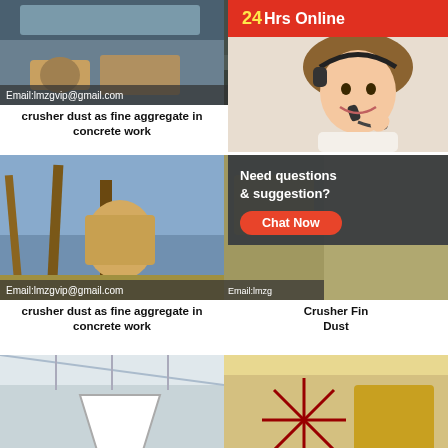[Figure (photo): Industrial crusher machinery with email overlay: Email:lmzgvip@gmail.com]
crusher dust as fine aggregate in concrete work
[Figure (photo): Stone crusher equipment outdoors with email overlay: Email:lmzgvip@gmail.com]
stone crusher aggregate
[Figure (photo): Large mining crusher equipment with email overlay: Email:lmzgvip@gmail.com]
crusher dust as fine aggregate in concrete work
[Figure (photo): Crusher machinery in industrial setting with email overlay: Email:lmzgvip@gmail.com]
Crusher Fine Dust
[Figure (illustration): 24Hrs Online popup with customer service agent photo and chat now button]
[Figure (photo): Industrial cone crusher in a large factory hall with email overlay: Email:lmzgvip@gmail.com]
[Figure (photo): Industrial jaw crusher with red flywheel in factory with email overlay: Email:lmzgvip@gmail.com]